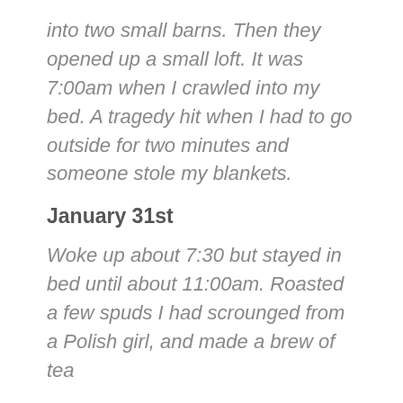into two small barns. Then they opened up a small loft. It was 7:00am when I crawled into my bed. A tragedy hit when I had to go outside for two minutes and someone stole my blankets.
January 31st
Woke up about 7:30 but stayed in bed until about 11:00am. Roasted a few spuds I had scrounged from a Polish girl, and made a brew of tea